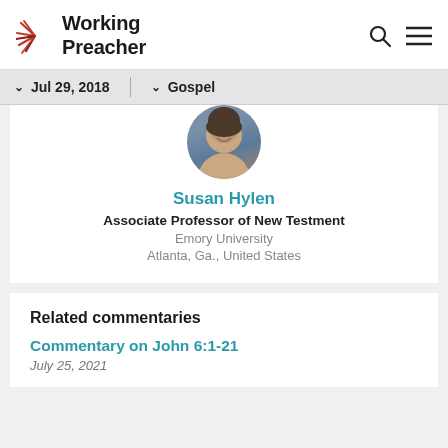Working Preacher
Jul 29, 2018   Gospel
[Figure (photo): Circular profile photo of Susan Hylen]
Susan Hylen
Associate Professor of New Testment
Emory University
Atlanta, Ga., United States
Related commentaries
Commentary on John 6:1-21
July 25, 2021